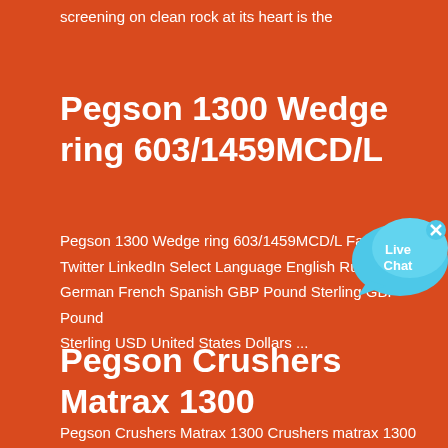screening on clean rock at its heart is the
Pegson 1300 Wedge ring 603/1459MCD/L
Pegson 1300 Wedge ring 603/1459MCD/L Facebook Twitter LinkedIn Select Language English Russian German French Spanish GBP Pound Sterling GBP Pound Sterling USD United States Dollars ...
[Figure (illustration): Live Chat speech bubble icon with blue color and 'Live Chat' text]
Pegson Crushers Matrax 1300
Pegson Crushers Matrax 1300 Crushers matrax 1300